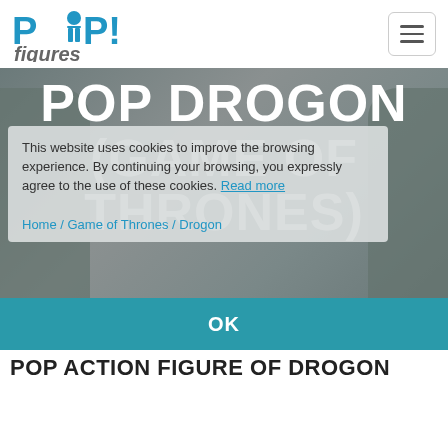[Figure (logo): POP! figures logo in blue and grey]
POP DROGON (GAME OF THRONES)
This website uses cookies to improve the browsing experience. By continuing your browsing, you expressly agree to the use of these cookies. Read more
Home / Game of Thrones / Drogon
OK
POP ACTION FIGURE OF DROGON